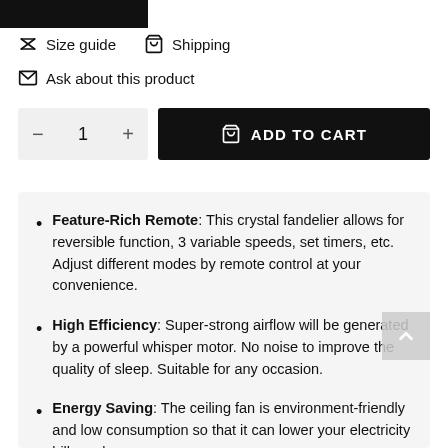[Figure (screenshot): Black top bar (cropped product page element)]
Size guide   Shipping
Ask about this product
1   ADD TO CART
Feature-Rich Remote: This crystal fandelier allows for reversible function, 3 variable speeds, set timers, etc. Adjust different modes by remote control at your convenience.
High Efficiency: Super-strong airflow will be generated by a powerful whisper motor. No noise to improve the quality of sleep. Suitable for any occasion.
Energy Saving: The ceiling fan is environment-friendly and low consumption so that it can lower your electricity bill yearly.